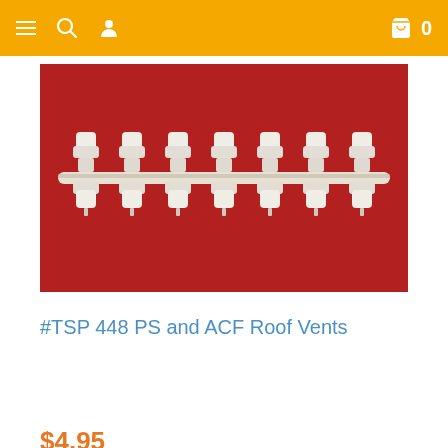Navigation bar with menu, search, user, cart (0) icons
[Figure (photo): White plastic roof vent parts on a red background — a strip of 7 double-headed vent pieces arranged in a row on a horizontal rod]
#TSP 448 PS and ACF Roof Vents
$4.95